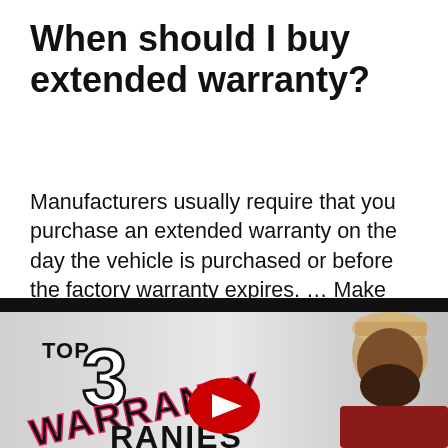When should I buy extended warranty?
Manufacturers usually require that you purchase an extended warranty on the day the vehicle is purchased or before the factory warranty expires. … Make sure that you aren't opting into coverage before your manufacturer warranty expires, You don't want to pay for coverage you already have.
[Figure (screenshot): YouTube video thumbnail showing text 'TOP 3 WARRANTY COMPANIES' with a man in a cap and beard, and a red YouTube play button in the center]